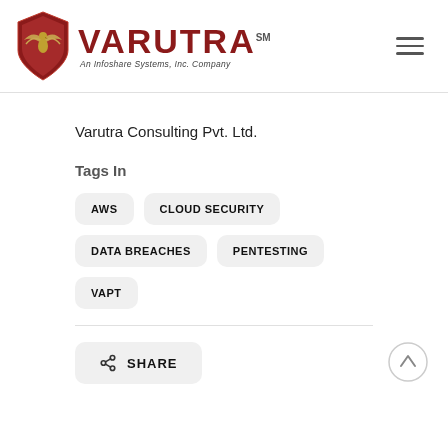[Figure (logo): Varutra logo: red shield with golden eagle wings, text VARUTRA SM, An Infoshare Systems, Inc. Company]
Varutra Consulting Pvt. Ltd.
Tags In
AWS
CLOUD SECURITY
DATA BREACHES
PENTESTING
VAPT
SHARE